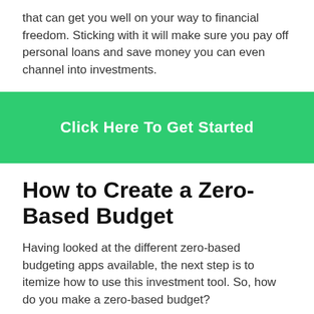that can get you well on your way to financial freedom. Sticking with it will make sure you pay off personal loans and save money you can even channel into investments.
[Figure (other): Green call-to-action button with white bold text 'Click Here To Get Started']
How to Create a Zero-Based Budget
Having looked at the different zero-based budgeting apps available, the next step is to itemize how to use this investment tool. So, how do you make a zero-based budget?